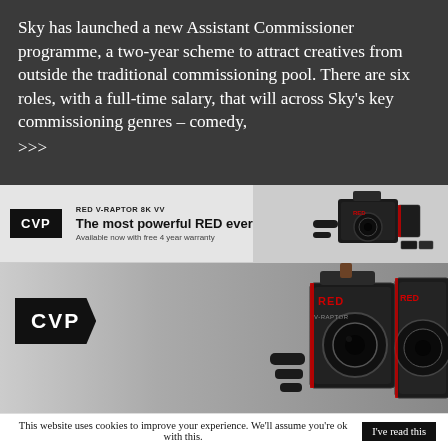Sky has launched a new Assistant Commissioner programme, a two-year scheme to attract creatives from outside the traditional commissioning pool. There are six roles, with a full-time salary, that will across Sky's key commissioning genres – comedy, >>>
[Figure (photo): CVP advertisement banner (small) featuring a RED V-Raptor 8K VV camera with text 'The most powerful RED ever. Available now with free 4 year warranty']
[Figure (photo): CVP advertisement banner (large) featuring RED cameras including V-Raptor model on grey background with CVP logo]
This website uses cookies to improve your experience. We'll assume you're ok with this. I've read this